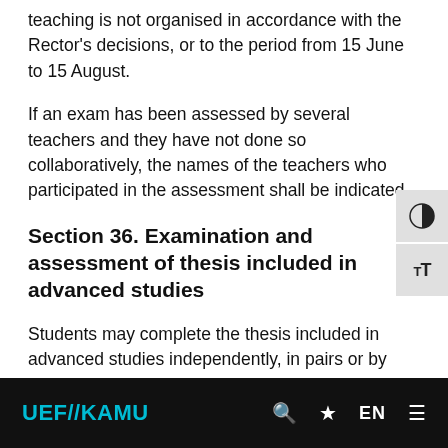teaching is not organised in accordance with the Rector's decisions, or to the period from 15 June to 15 August.
If an exam has been assessed by several teachers and they have not done so collaboratively, the names of the teachers who participated in the assessment shall be indicated.
Section 36. Examination and assessment of thesis included in advanced studies
Students may complete the thesis included in advanced studies independently, in pairs or by
UEF//KAMU  🔍 ★ EN ≡